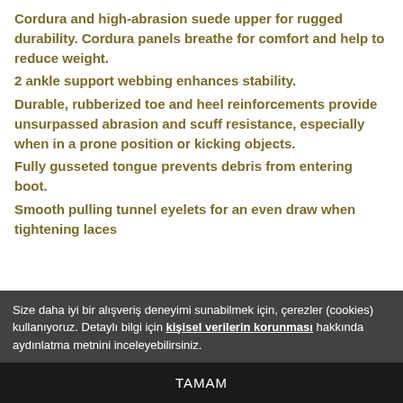Cordura and high-abrasion suede upper for rugged durability. Cordura panels breathe for comfort and help to reduce weight.
2 ankle support webbing enhances stability.
Durable, rubberized toe and heel reinforcements provide unsurpassed abrasion and scuff resistance, especially when in a prone position or kicking objects.
Fully gusseted tongue prevents debris from entering boot.
Smooth pulling tunnel eyelets for an even draw when tightening laces
Diğer Özellikler
Stok Kodu    blackhawk24
arkalar
Size daha iyi bir alışveriş deneyimi sunabilmek için, çerezler (cookies) kullanıyoruz. Detaylı bilgi için kişisel verilerin korunması hakkında aydınlatma metnini inceleyebilirsiniz.
TAMAM